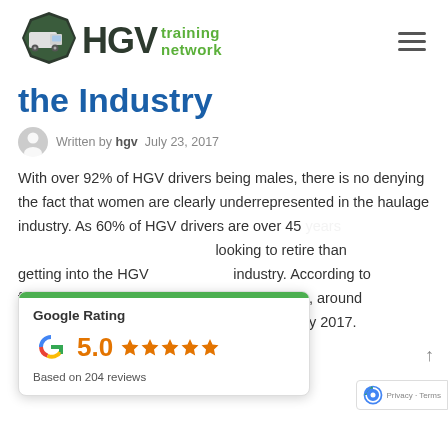[Figure (logo): HGV Training Network logo with truck icon in green badge and green text]
the Industry
Written by hgv   July 23, 2017
With over 92% of HGV drivers being males, there is no denying the fact that women are clearly underrepresented in the haulage industry. As 60% of HGV drivers are over 45 years looking to retire than getting into the HGV industry. According to figures from the Association, around 40,000 drivers are due to leave the industry by 2017.
[Figure (other): Google Rating popup showing 5.0 stars based on 204 reviews]